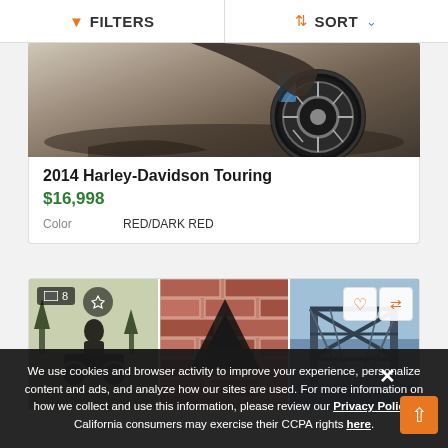FILTERS   SORT
[Figure (photo): Partial view of a Harley-Davidson Touring motorcycle, showing the rear wheel and body detail]
2014 Harley-Davidson Touring
$16,998
Color    RED/DARK RED
[Figure (photo): Second vehicle listing showing three photo thumbnails of a motorcycle with image count badge showing 8]
We use cookies and browser activity to improve your experience, personalize content and ads, and analyze how our sites are used. For more information on how we collect and use this information, please review our Privacy Policy. California consumers may exercise their CCPA rights here.